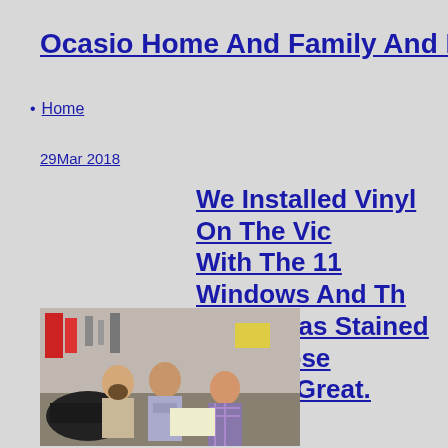Ocasio Home And Family And Home Imp…
Home
29Mar 2018
We Installed Vinyl On The Vic… With The 11 Windows And Th… Wood Was Stained And Those … Looked Great.
[Figure (photo): Three men sitting together in what appears to be a garage or workshop setting, looking at something together. One man has a beard, one wears a Michigan sweatshirt, and one wears a plaid shirt.]